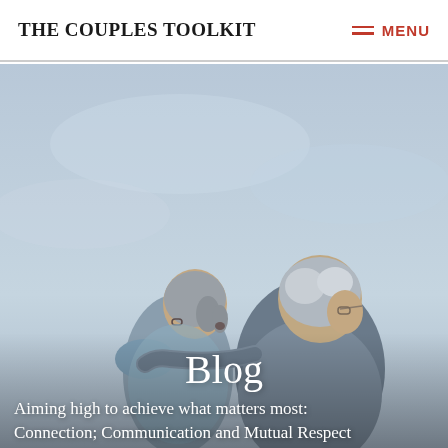THE COUPLES TOOLKIT / MENU
[Figure (photo): An elderly couple seen from behind, with grey hair, wearing glasses, sitting close together against a light blue-grey sky background. The man has his arm around the woman.]
Blog
Aiming high to achieve what matters most: Connection; Communication and Mutual Respect